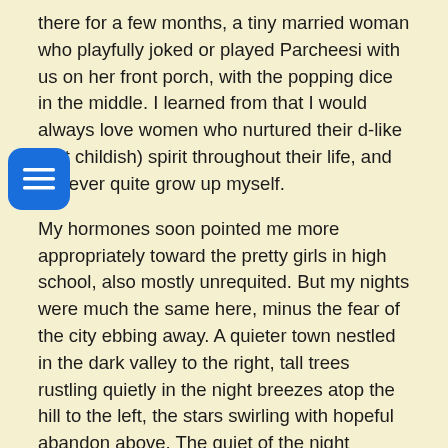there for a few months, a tiny married woman who playfully joked or played Parcheesi with us on her front porch, with the popping dice in the middle. I learned from that I would always love women who nurtured their d-like (not childish) spirit throughout their life, and to never quite grow up myself.

My hormones soon pointed me more appropriately toward the pretty girls in high school, also mostly unrequited. But my nights were much the same here, minus the fear of the city ebbing away. A quieter town nestled in the dark valley to the right, tall trees rustling quietly in the night breezes atop the hill to the left, the stars swirling with hopeful abandon above. The quiet of the night needing at least one soul to stay up to appreciate it.

I wonder now if my night vigils today were an acquired habit, or a simply part of my spirit. Was it nature or self-nurture? I imagine I'll never know, but I can almost feel the air grow quiet in the night, as more people fall off to